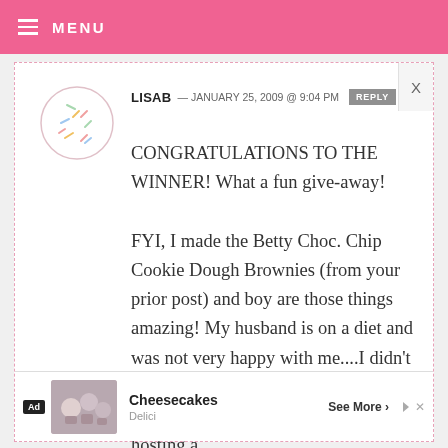MENU
LISAB — JANUARY 25, 2009 @ 9:04 PM  REPLY
CONGRATULATIONS TO THE WINNER! What a fun give-away!

FYI, I made the Betty Choc. Chip Cookie Dough Brownies (from your prior post) and boy are those things amazing! My husband is on a diet and was not very happy with me....I didn't do it to throw his diet off, they were too good to pass up–plus we are hosting a
Ad  Cheesecakes  Delici  See More